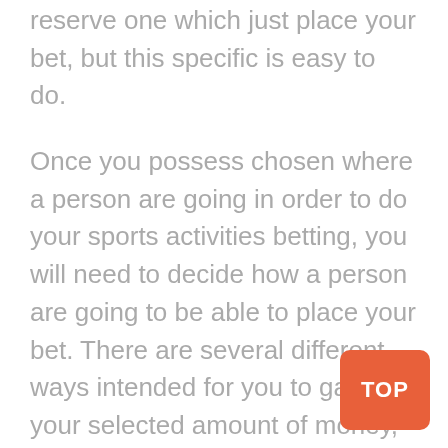reserve one which just place your bet, but this specific is easy to do.
Once you possess chosen where a person are going in order to do your sports activities betting, you will need to decide how a person are going to be able to place your bet. There are several different ways intended for you to gamble your selected amount of money, but first, let’s talk regarding the spread plus how it could affect the amount an individual bet.
Wagering – The Spread
Typically the spread can be a stage advantage in sports activities betting, which is definitely usually given to be able to the team which is generally expected to be able to lose a specific sporting event. In the event that you decide that you’ll bet on the particular team that will be expected to win, they will